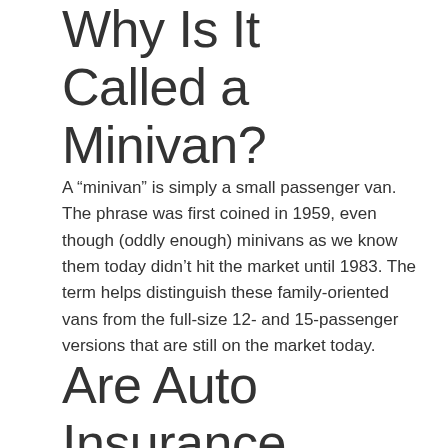Why Is It Called a Minivan?
A “minivan” is simply a small passenger van. The phrase was first coined in 1959, even though (oddly enough) minivans as we know them today didn’t hit the market until 1983. The term helps distinguish these family-oriented vans from the full-size 12- and 15-passenger versions that are still on the market today.
Are Auto Insurance Rates Higher or Lower